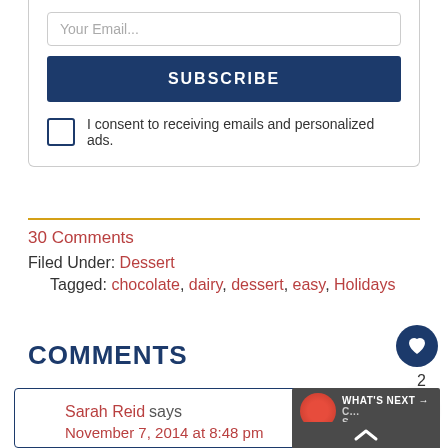Your Email...
SUBSCRIBE
I consent to receiving emails and personalized ads.
30 Comments
Filed Under: Dessert
Tagged: chocolate, dairy, dessert, easy, Holidays
COMMENTS
Sarah Reid says
November 7, 2014 at 8:48 pm

I can just imagine this with a drizzle of melted